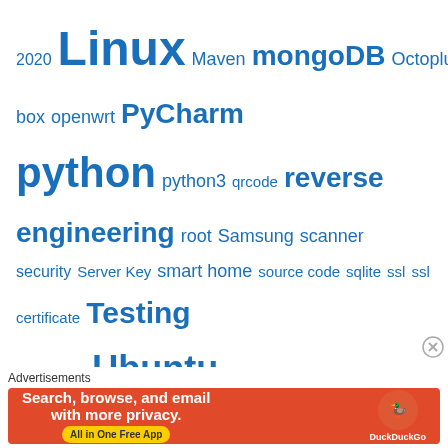2020 Linux Maven mongoDB Octoplus box openwrt PyCharm python python3 qrcode reverse engineering root Samsung scanner security Server Key smart home source code sqlite ssl ssl certificate Testing tplink TSE Ubuntu Ubuntu 14.0 Vulnerability Analysis web security Windows xposed xposed module
[Figure (other): Grid of user avatar thumbnails showing profile photos and placeholder silhouette icons]
Advertisements
[Figure (other): DuckDuckGo advertisement banner: Search, browse, and email with more privacy. All in One Free App]